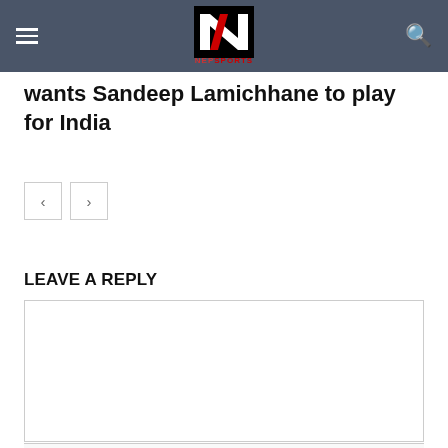NepSports navigation bar with logo
wants Sandeep Lamichhane to play for India
< > navigation arrows
LEAVE A REPLY
Comment: